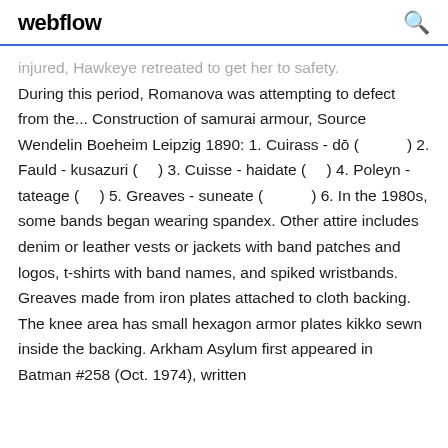webflow
injured, Hawkeye retreated to get her to safety. During this period, Romanova was attempting to defect from the... Construction of samurai armour, Source Wendelin Boeheim Leipzig 1890: 1. Cuirass - dō (　　　) 2. Fauld - kusazuri (　) 3. Cuisse - haidate (　) 4. Poleyn - tateage (　) 5. Greaves - suneate (　　　) 6. In the 1980s, some bands began wearing spandex. Other attire includes denim or leather vests or jackets with band patches and logos, t-shirts with band names, and spiked wristbands. Greaves made from iron plates attached to cloth backing. The knee area has small hexagon armor plates kikko sewn inside the backing. Arkham Asylum first appeared in Batman #258 (Oct. 1974), written